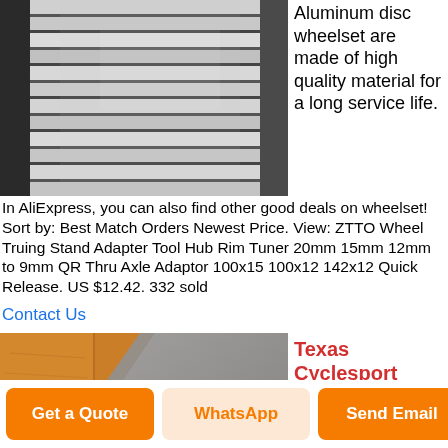[Figure (photo): Close-up photo of stacked aluminum metal bars/rods with shiny silver surface]
Aluminum disc wheelset are made of high quality material for a long service life.
In AliExpress, you can also find other good deals on wheelset! Sort by: Best Match Orders Newest Price. View: ZTTO Wheel Truing Stand Adapter Tool Hub Rim Tuner 20mm 15mm 12mm to 9mm QR Thru Axle Adaptor 100x15 100x12 142x12 Quick Release. US $12.42. 332 sold
Contact Us
[Figure (photo): Photo showing wood-grain tiled floor next to a smooth gray surface, diagonal composition]
Texas Cyclesport Mavic Ksyrium Pro Disc
Get a Quote
WhatsApp
Send Email